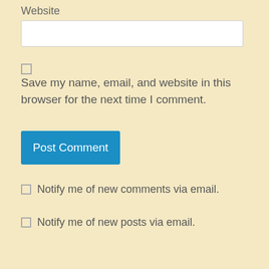Website
[Figure (screenshot): Empty text input field for Website URL]
[Figure (screenshot): Unchecked checkbox]
Save my name, email, and website in this browser for the next time I comment.
[Figure (screenshot): Post Comment button (blue)]
Notify me of new comments via email.
Notify me of new posts via email.